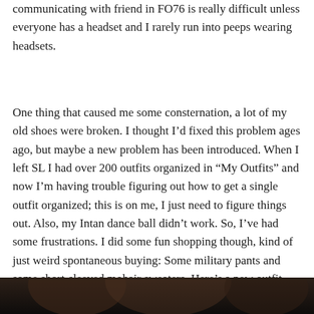communicating with friend in FO76 is really difficult unless everyone has a headset and I rarely run into peeps wearing headsets.
One thing that caused me some consternation, a lot of my old shoes were broken. I thought I'd fixed this problem ages ago, but maybe a new problem has been introduced. When I left SL I had over 200 outfits organized in “My Outfits” and now I'm having trouble figuring out how to get a single outfit organized; this is on me, I just need to figure things out. Also, my Intan dance ball didn’t work. So, I’ve had some frustrations. I did some fun shopping though, kind of just weird spontaneous buying: Some military pants and some short-sleeved mohair sweaters. Here’s a new outfit.
[Figure (photo): Bottom portion of a photo showing what appears to be a dark scene, likely a Second Life avatar photo showing a new outfit]